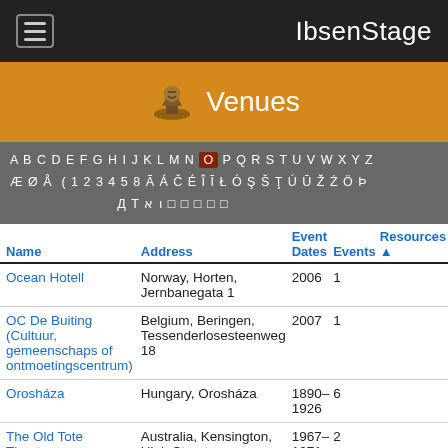IbsenStage
[Figure (other): Venues banner with orange background, theatrical mask icon, and 'Venues' text in white]
A B C D E F G H I J K L M N O P Q R S T U V W X Y Z Æ Ø Å ( 1 2 3 4 5 8 Ã Á Č É Î Ī Ł Ó Ş Š Ţ Ú Ū Ž Ż Ö Þ Д Т א ı □ □ □ □ □
| Name | Address | Event Dates | Events | Resources |
| --- | --- | --- | --- | --- |
| Ocean Hotell | Norway, Horten, Jernbanegata 1 | 2006 | 1 |  |
| OC De Buiting (Cultuur, gemeenschaps of ontmoetingscentrum) | Belgium, Beringen, Tessenderlosesteenweg 18 | 2007 | 1 |  |
| Orosháza | Hungary, Orosháza | 1890–1926 | 6 |  |
| The Old Tote Theatre | Australia, Kensington, High Street | 1967–1971 | 2 |  |
| Odeon de Spiegel | Netherlands, Zwolle, Blijmarkt 25 | 2000–2008 | 2 |  |
| Orāstie | Romania, Orāstie | 1911 | 1 |  |